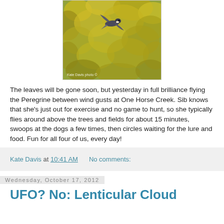[Figure (photo): A peregrine falcon in flight against a yellow-green autumn foliage background. Watermark reads 'Kate Davis photo ©']
The leaves will be gone soon, but yesterday in full brilliance flying the Peregrine between wind gusts at One Horse Creek. Sib knows that she's just out for exercise and no game to hunt, so she typically flies around above the trees and fields for about 15 minutes, swoops at the dogs a few times, then circles waiting for the lure and food. Fun for all four of us, every day!
Kate Davis at 10:41 AM   No comments:
Wednesday, October 17, 2012
UFO? No: Lenticular Cloud